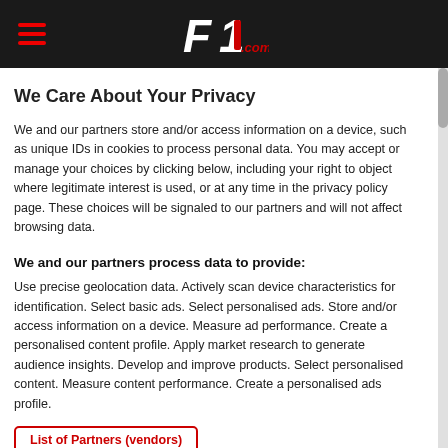F1.com
We Care About Your Privacy
We and our partners store and/or access information on a device, such as unique IDs in cookies to process personal data. You may accept or manage your choices by clicking below, including your right to object where legitimate interest is used, or at any time in the privacy policy page. These choices will be signaled to our partners and will not affect browsing data.
We and our partners process data to provide:
Use precise geolocation data. Actively scan device characteristics for identification. Select basic ads. Select personalised ads. Store and/or access information on a device. Measure ad performance. Create a personalised content profile. Apply market research to generate audience insights. Develop and improve products. Select personalised content. Measure content performance. Create a personalised ads profile.
List of Partners (vendors)